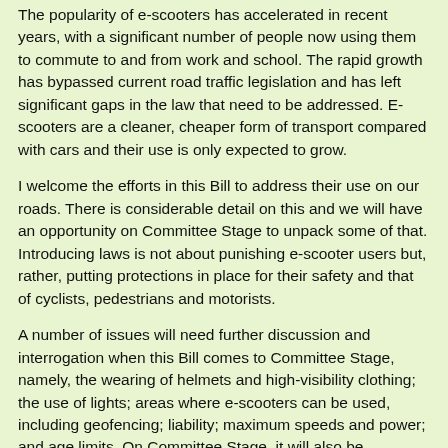The popularity of e-scooters has accelerated in recent years, with a significant number of people now using them to commute to and from work and school. The rapid growth has bypassed current road traffic legislation and has left significant gaps in the law that need to be addressed. E-scooters are a cleaner, cheaper form of transport compared with cars and their use is only expected to grow.
I welcome the efforts in this Bill to address their use on our roads. There is considerable detail on this and we will have an opportunity on Committee Stage to unpack some of that. Introducing laws is not about punishing e-scooter users but, rather, putting protections in place for their safety and that of cyclists, pedestrians and motorists.
A number of issues will need further discussion and interrogation when this Bill comes to Committee Stage, namely, the wearing of helmets and high-visibility clothing; the use of lights; areas where e-scooters can be used, including geofencing; liability; maximum speeds and power; and age limits. On Committee Stage, it will also be important to examine proposed e-scooter sharing schemes. These are commonplace across Europe and are hugely popular with tourists and residents alike. However, there is also concern over some of the negative aspects that can arise if a shared scheme is not introduced correctly. We do not want to see e-scooters used on footpaths or strewn all over sidewalks and public spaces, like we see in some cases elsewhere. This causes huge issues for people, particularly those with visual impairments, elderly